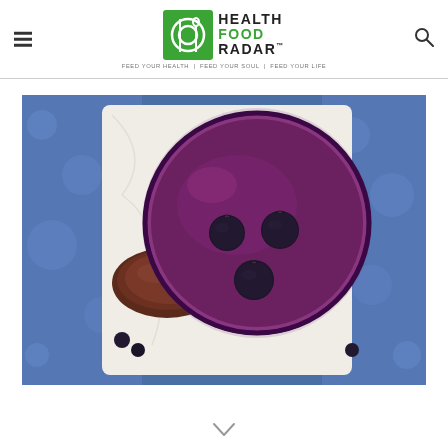Health Food Radar — Feed Your Health | Feed Your Soul | Feed Your Life
[Figure (photo): Overhead view of a blueberry smoothie in a glass jar with three fresh blueberries on top, surrounded by cashews and cacao powder on a marble cutting board with a blue patterned cloth]